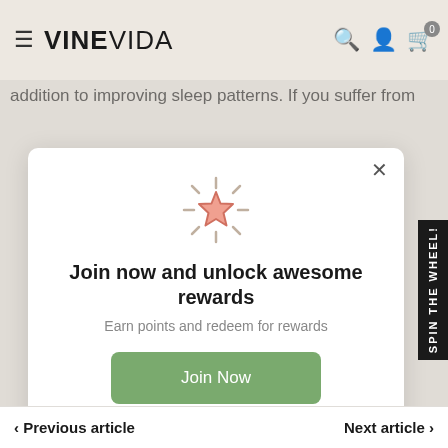VINEVIDA
addition to improving sleep patterns. If you suffer from
[Figure (screenshot): Popup modal with star icon, title 'Join now and unlock awesome rewards', subtitle 'Earn points and redeem for rewards', a green 'Join Now' button, and 'Already a member? Sign in' link. A 'SPIN THE WHEEL!' vertical sidebar is visible on the right.]
Previous article   Next article